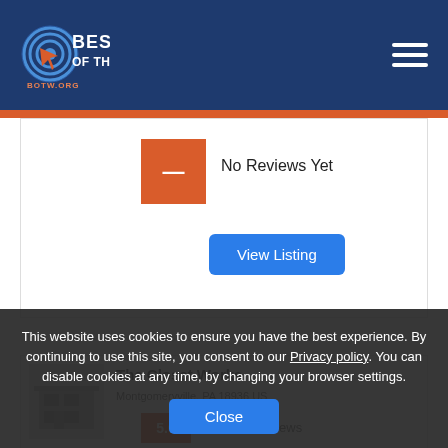[Figure (logo): Best of the Web (BOTW.org) logo — circular radar icon with orange arrow cursor on dark blue background, with white bold text 'BEST OF THE WEB' and 'BOTW.ORG']
No Reviews Yet
View Listing
The Closet Works
Montgomeryville, PA 18936 US
5.0
Certified Reviews
This website uses cookies to ensure you have the best experience. By continuing to use this site, you consent to our Privacy policy. You can disable cookies at any time, by changing your browser settings.
Close